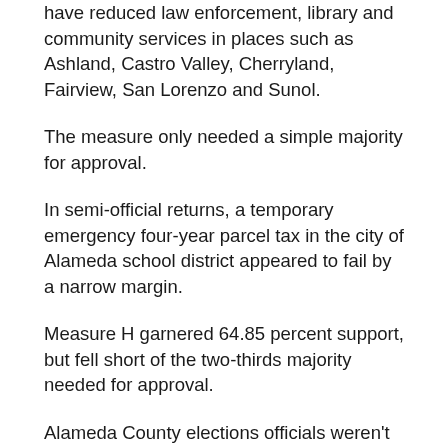have reduced law enforcement, library and community services in places such as Ashland, Castro Valley, Cherryland, Fairview, San Lorenzo and Sunol.
The measure only needed a simple majority for approval.
In semi-official returns, a temporary emergency four-year parcel tax in the city of Alameda school district appeared to fail by a narrow margin.
Measure H garnered 64.85 percent support, but fell short of the two-thirds majority needed for approval.
Alameda County elections officials weren't available to comment early today on whether uncounted absentee ballots could change the outcome.
The goal of Measure H was to offset proposed state budget cuts and minimize school closures and cuts in programs such as music and athletics.